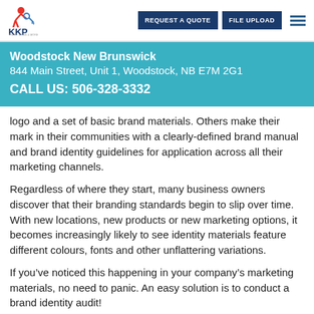KKP — REQUEST A QUOTE | FILE UPLOAD
Woodstock New Brunswick
844 Main Street, Unit 1, Woodstock, NB E7M 2G1
CALL US: 506-328-3332
logo and a set of basic brand materials. Others make their mark in their communities with a clearly-defined brand manual and brand identity guidelines for application across all their marketing channels.
Regardless of where they start, many business owners discover that their branding standards begin to slip over time. With new locations, new products or new marketing options, it becomes increasingly likely to see identity materials feature different colours, fonts and other unflattering variations.
If you’ve noticed this happening in your company’s marketing materials, no need to panic. An easy solution is to conduct a brand identity audit!